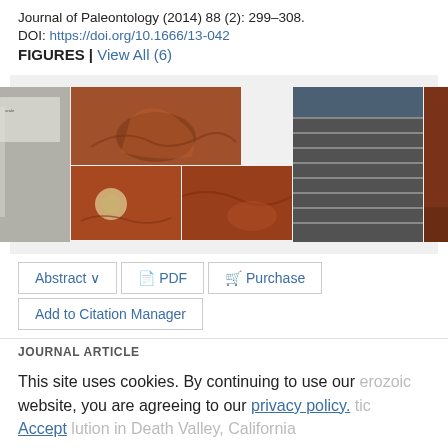Journal of Paleontology (2014) 88 (2): 299–308.
DOI: https://doi.org/10.1666/13-042
FIGURES | View All (6)
[Figure (photo): Composite of paleontology fieldwork photos showing aerial map view, reddish-brown rock outcrops, layered dark rock strata, and brownish sediment surfaces with fossil specimens.]
Abstract ∨   PDF   Purchase   Add to Citation Manager
JOURNAL ARTICLE
This site uses cookies. By continuing to use our website, you are agreeing to our privacy policy. Accept lution in Death Valley, California